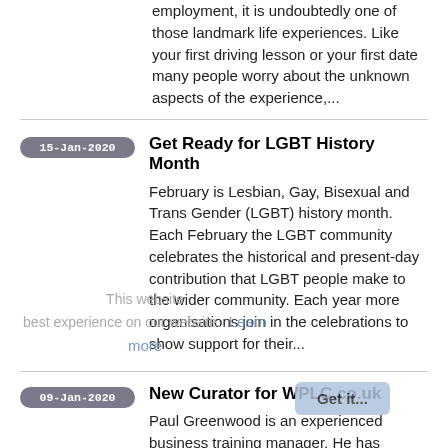employment, it is undoubtedly one of those landmark life experiences. Like your first driving lesson or your first date many people worry about the unknown aspects of the experience,...
15-Jan-2020 | Get Ready for LGBT History Month — February is Lesbian, Gay, Bisexual and Trans Gender (LGBT) history month. Each February the LGBT community celebrates the historical and present-day contribution that LGBT people make to the wider community. Each year more organisations join in the celebrations to show support for their...
This website best experience on our website. Learn more
09-Jan-2020 | New Curator for WPLC.co.uk — Paul Greenwood is an experienced business training manager. He has worked in a